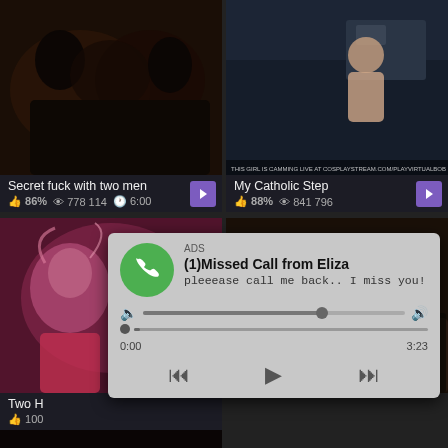[Figure (screenshot): Video thumbnail 1: dark scene with multiple figures]
[Figure (screenshot): Video thumbnail 2: person in kitchen setting with live stream overlay text]
Secret fuck with two men
👍 86%  👁 778 114  🕐 6:00
My Catholic Step
👍 88%  👁 841 796
[Figure (screenshot): Video thumbnail 3: pink/red toned scene with figures]
[Figure (screenshot): Video thumbnail 4: group scene on sofa]
Two H
👍 100
[Figure (screenshot): Video thumbnail 5: partially visible bottom left]
[Figure (infographic): Fake missed call notification overlay: ADS header, (1)Missed Call from Eliza, pleeease call me back.. I miss you!, audio player with progress bar 0:00 to 3:23, playback controls (rewind, play, fast forward)]